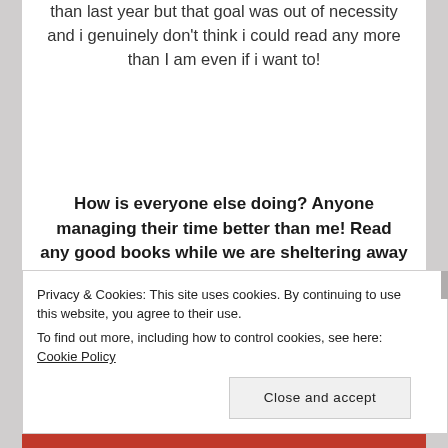than last year but that goal was out of necessity and i genuinely don't think i could read any more than I am even if i want to!
How is everyone else doing? Anyone managing their time better than me! Read any good books while we are sheltering away from human contact?
Advertisements
Privacy & Cookies: This site uses cookies. By continuing to use this website, you agree to their use.
To find out more, including how to control cookies, see here: Cookie Policy
Close and accept